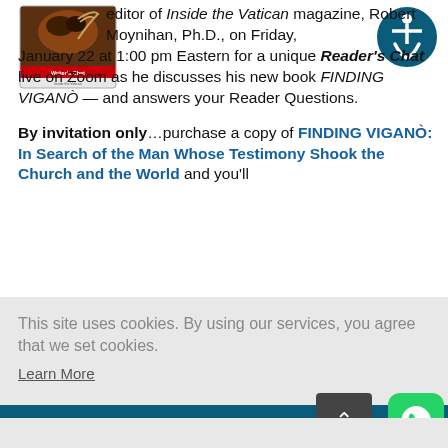[Figure (logo): Writer's Chat Inside the Vatican book cover logo]
[Figure (other): Accessibility icon - circular blue icon with person symbol]
editor of Inside the Vatican magazine, Robert Moynihan, Ph.D., on Friday, January 22 at 1:00 pm Eastern for a unique Reader's Chat live on Zoom as he discusses his new book FINDING VIGANÒ — and answers your Reader Questions.

By invitation only...purchase a copy of FINDING VIGANÒ: In Search of the Man Whose Testimony Shook the Church and the World and you'll
This site uses cookies. By using our services, you agree that we set cookies.
Learn More
Agree
the Footsteps of St. Margaret of Scotland